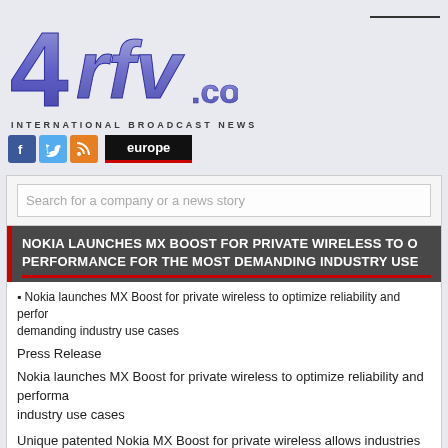[Figure (logo): 4rfv.com logo — large stylized text in blue/purple gradient with '.com' text, followed by 'INTERNATIONAL BROADCAST NEWS' in small caps below]
[Figure (infographic): Social media icons (Facebook, Twitter, RSS) and 'europe' navigation button in black with red underline]
Search for a company or a news story
NOKIA LAUNCHES MX BOOST FOR PRIVATE WIRELESS TO OPTIMIZE PERFORMANCE FOR THE MOST DEMANDING INDUSTRY USE CASES
Nokia launches MX Boost for private wireless to optimize reliability and performance for the most demanding industry use cases
Press Release
Nokia launches MX Boost for private wireless to optimize reliability and performance for the most demanding industry use cases
Unique patented Nokia MX Boost for private wireless allows industries to combine spectrum to meet performance needs of Industry 4.0 use cases that often opera